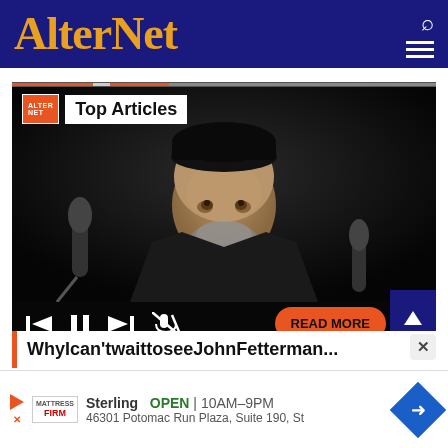AlterNet
[Figure (screenshot): AlterNet Top Articles video player showing a photo of John Fetterman speaking into a microphone, with video controls (previous, pause, next, mute) and a READ MORE button overlay]
WhyIcan'twaittoseeJohnFetterman...
Sterling  OPEN | 10AM–9PM  46301 Potomac Run Plaza, Suite 190, St